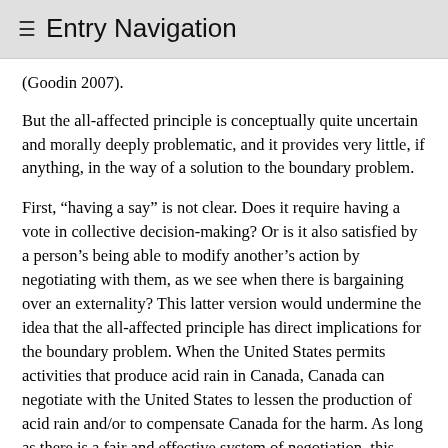≡ Entry Navigation
(Goodin 2007).
But the all-affected principle is conceptually quite uncertain and morally deeply problematic, and it provides very little, if anything, in the way of a solution to the boundary problem.
First, “having a say” is not clear. Does it require having a vote in collective decision-making? Or is it also satisfied by a person’s being able to modify another’s action by negotiating with them, as we see when there is bargaining over an externality? This latter version would undermine the idea that the all-affected principle has direct implications for the boundary problem. When the United States permits activities that produce acid rain in Canada, Canada can negotiate with the United States to lessen the production of acid rain and/or to compensate Canada for the harm. As long as there is a fair and effective system of negotiation, this would seem to satisfy the all-affected principle without giving Canadians a vote in American politics or Americans a vote in Canadian politics.